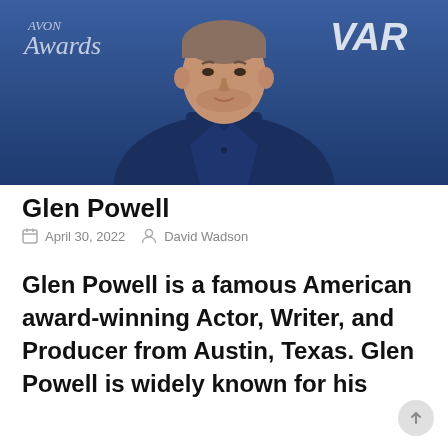[Figure (photo): Photo of Glen Powell in a dark navy suit and shirt, standing in front of a Variety event backdrop with logos. Man looking slightly downward, with short hair and light stubble.]
Glen Powell
April 30, 2022   David Wadson
Glen Powell is a famous American award-winning Actor, Writer, and Producer from Austin, Texas. Glen Powell is widely known for his